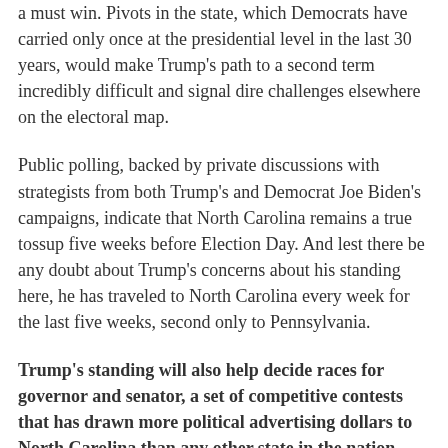a must win. Pivots in the state, which Democrats have carried only once at the presidential level in the last 30 years, would make Trump's path to a second term incredibly difficult and signal dire challenges elsewhere on the electoral map.
Public polling, backed by private discussions with strategists from both Trump's and Democrat Joe Biden's campaigns, indicate that North Carolina remains a true tossup five weeks before Election Day. And lest there be any doubt about Trump's concerns about his standing here, he has traveled to North Carolina every week for the last five weeks, second only to Pennsylvania.
Trump's standing will also help decide races for governor and senator, a set of competitive contests that has drawn more political advertising dollars to North Carolina than any other state in the nation. More than $246 million has been spent or reserved to communicate with North Carolina voters